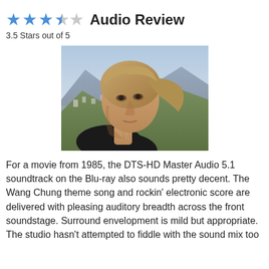Audio Review
3.5 Stars out of 5
[Figure (photo): Close-up photo of a young man with medium-length hair looking to the side, with a hillside neighborhood and mountains visible in the background.]
For a movie from 1985, the DTS-HD Master Audio 5.1 soundtrack on the Blu-ray also sounds pretty decent. The Wang Chung theme song and rockin' electronic score are delivered with pleasing auditory breadth across the front soundstage. Surround envelopment is mild but appropriate. The studio hasn't attempted to fiddle with the sound mix too